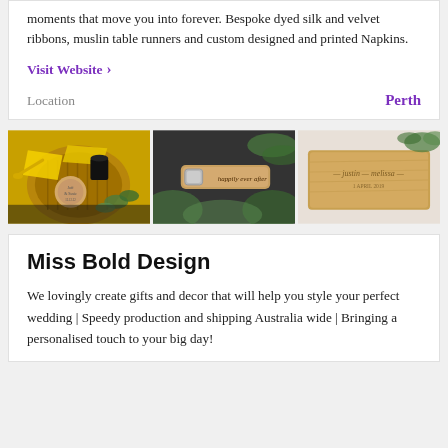moments that move you into forever. Bespoke dyed silk and velvet ribbons, muslin table runners and custom designed and printed Napkins.
Visit Website ›
Location                                                             Perth
[Figure (photo): Three product photos side by side: a charcuterie board with a custom coaster, a bottle opener reading 'happily ever after', and an engraved bamboo cutting board reading 'justin — melissa'.]
Miss Bold Design
We lovingly create gifts and decor that will help you style your perfect wedding | Speedy production and shipping Australia wide | Bringing a personalised touch to your big day!